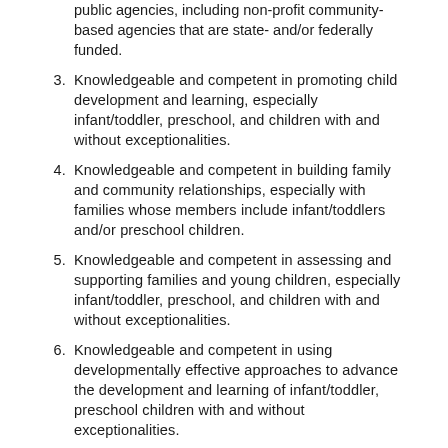public agencies, including non-profit community-based agencies that are state- and/or federally funded.
3. Knowledgeable and competent in promoting child development and learning, especially infant/toddler, preschool, and children with and without exceptionalities.
4. Knowledgeable and competent in building family and community relationships, especially with families whose members include infant/toddlers and/or preschool children.
5. Knowledgeable and competent in assessing and supporting families and young children, especially infant/toddler, preschool, and children with and without exceptionalities.
6. Knowledgeable and competent in using developmentally effective approaches to advance the development and learning of infant/toddler, preschool children with and without exceptionalities.